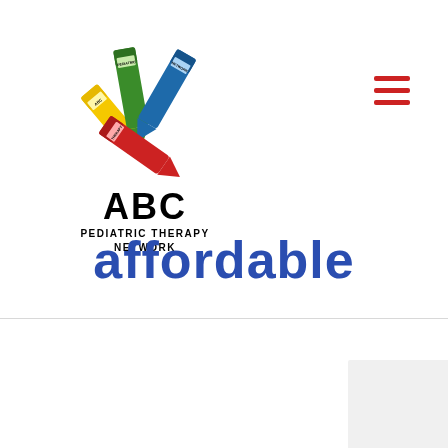[Figure (logo): ABC Pediatric Therapy Network logo with colorful crayons (yellow, green, blue, red) arranged in an X pattern, with text 'ABC PEDIATRIC THERAPY NETWORK' below]
affordable